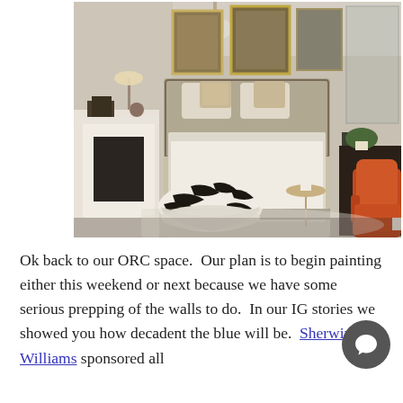[Figure (photo): Interior bedroom showroom photo featuring a beige upholstered bed with decorative pillows, a zebra-print ottoman, a small round side table, an orange velvet chair in the foreground right, a fireplace on the left, framed artwork on the walls, a crystal chandelier, and a potted plant on a dark console table.]
Ok back to our ORC space.  Our plan is to begin painting either this weekend or next because we have some serious prepping of the walls to do.  In our IG stories we showed you how decadent the blue will be.  Sherwin Williams sponsored all